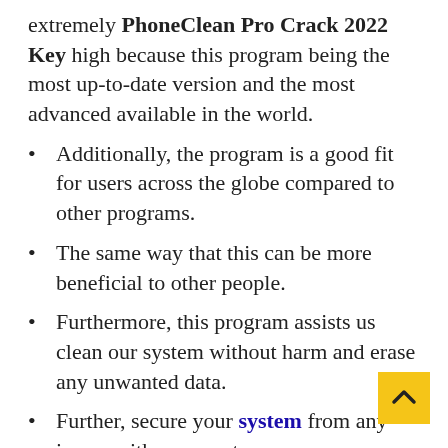extremely PhoneClean Pro Crack 2022 Key high because this program being the most up-to-date version and the most advanced available in the world.
Additionally, the program is a good fit for users across the globe compared to other programs.
The same way that this can be more beneficial to other people.
Furthermore, this program assists us clean our system without harm and erase any unwanted data.
Further, secure your system from any issues with your system.